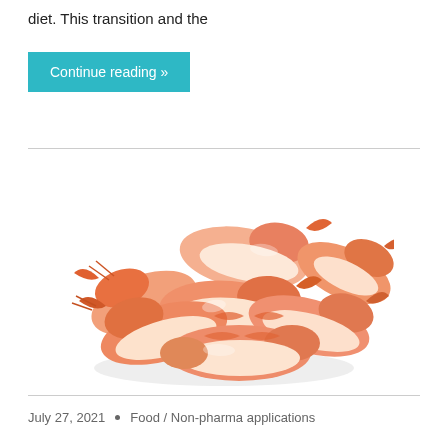diet. This transition and the
Continue reading »
[Figure (photo): A pile of cooked shrimp/prawns with orange-red shells on a white background]
July 27, 2021  •  Food / Non-pharma applications